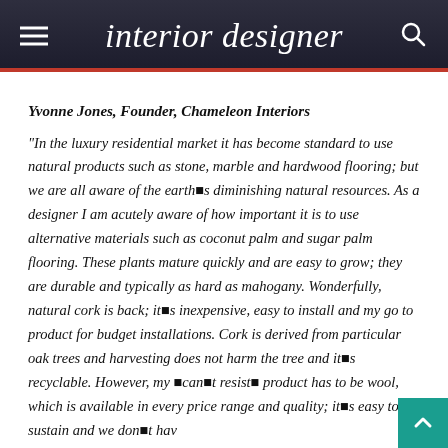interior designer
Yvonne Jones, Founder, Chameleon Interiors
"In the luxury residential market it has become standard to use natural products such as stone, marble and hardwood flooring; but we are all aware of the earth�s diminishing natural resources. As a designer I am acutely aware of how important it is to use alternative materials such as coconut palm and sugar palm flooring. These plants mature quickly and are easy to grow; they are durable and typically as hard as mahogany. Wonderfully, natural cork is back; it�s inexpensive, easy to install and my go to product for budget installations. Cork is derived from particular oak trees and harvesting does not harm the tree and it�s recyclable. However, my �can�t resist� product has to be wool, which is available in every price range and quality; it�s easy to sustain and we don�t hav...